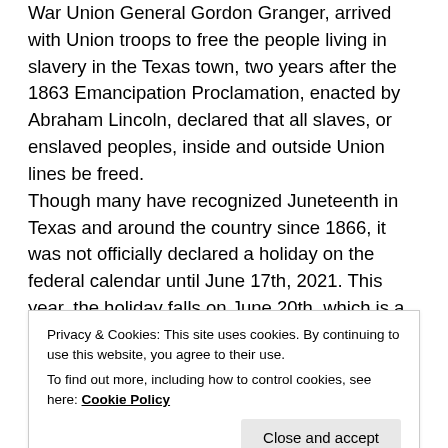War Union General Gordon Granger, arrived with Union troops to free the people living in slavery in the Texas town, two years after the 1863 Emancipation Proclamation, enacted by Abraham Lincoln, declared that all slaves, or enslaved peoples, inside and outside Union lines be freed.
Though many have recognized Juneteenth in Texas and around the country since 1866, it was not officially declared a holiday on the federal calendar until June 17th, 2021. This year, the holiday falls on June 20th, which is a Monday in June. Its long path to one of the national dates of celebration in June that has been fraught with advocacy against the holiday's ignorance and is still a hot topic, outside of Texas, even today.
Privacy & Cookies: This site uses cookies. By continuing to use this website, you agree to their use. To find out more, including how to control cookies, see here: Cookie Policy
Proclamation was issued by President Lincoln in 1863